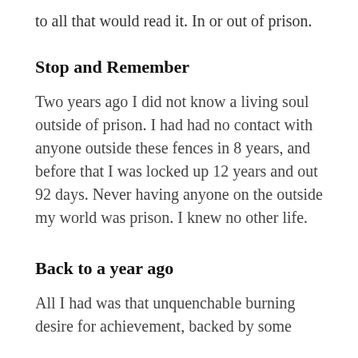to all that would read it. In or out of prison.
Stop and Remember
Two years ago I did not know a living soul outside of prison. I had had no contact with anyone outside these fences in 8 years, and before that I was locked up 12 years and out 92 days. Never having anyone on the outside my world was prison. I knew no other life.
Back to a year ago
All I had was that unquenchable burning desire for achievement, backed by some